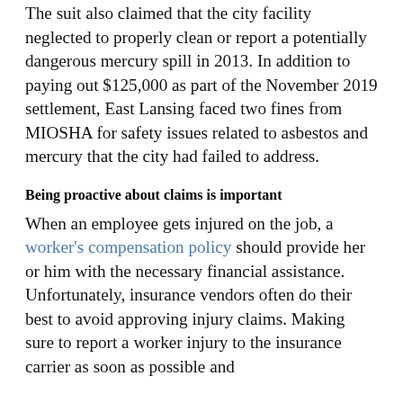The suit also claimed that the city facility neglected to properly clean or report a potentially dangerous mercury spill in 2013. In addition to paying out $125,000 as part of the November 2019 settlement, East Lansing faced two fines from MIOSHA for safety issues related to asbestos and mercury that the city had failed to address.
Being proactive about claims is important
When an employee gets injured on the job, a worker's compensation policy should provide her or him with the necessary financial assistance. Unfortunately, insurance vendors often do their best to avoid approving injury claims. Making sure to report a worker injury to the insurance carrier as soon as possible and